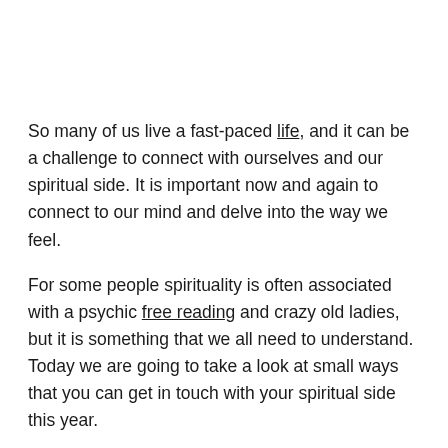So many of us live a fast-paced life, and it can be a challenge to connect with ourselves and our spiritual side. It is important now and again to connect to our mind and delve into the way we feel.
For some people spirituality is often associated with a psychic free reading and crazy old ladies, but it is something that we all need to understand. Today we are going to take a look at small ways that you can get in touch with your spiritual side this year.
1. Meditate